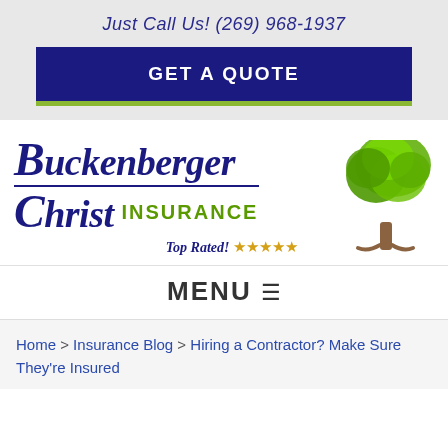Just Call Us! (269) 968-1937
GET A QUOTE
[Figure (logo): Buckenberger Christ Insurance logo with green tree illustration and 'Top Rated!' with five stars]
MENU ☰
Home > Insurance Blog > Hiring a Contractor? Make Sure They're Insured